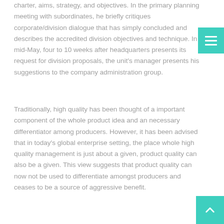charter, aims, strategy, and objectives. In the primary planning meeting with subordinates, he briefly critiques corporate/division dialogue that has simply concluded and describes the accredited division objectives and technique. In mid-May, four to 10 weeks after headquarters presents its request for division proposals, the unit's manager presents his suggestions to the company administration group.
Traditionally, high quality has been thought of a important component of the whole product idea and an necessary differentiator among producers. However, it has been advised that in today's global enterprise setting, the place whole high quality management is just about a given, product quality can also be a given. This view suggests that product quality can now not be used to differentiate amongst producers and ceases to be a source of aggressive benefit.